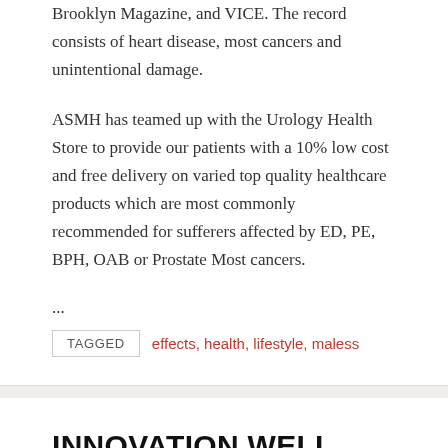Brooklyn Magazine, and VICE. The record consists of heart disease, most cancers and unintentional damage.
ASMH has teamed up with the Urology Health Store to provide our patients with a 10% low cost and free delivery on varied top quality healthcare products which are most commonly recommended for sufferers affected by ED, PE, BPH, OAB or Prostate Most cancers.
...
TAGGED  effects, health, lifestyle, maless
INNOVATION WELL BEING ACCREDITED TO OFFER WELL BEING INSURANCE COVERAGE